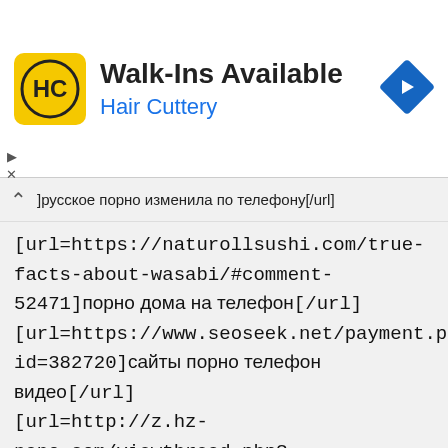[Figure (screenshot): Hair Cuttery ad banner with logo showing 'HC' in black circle on yellow background, text 'Walk-Ins Available' and 'Hair Cuttery' in blue, and a blue diamond navigation arrow on the right.]
]русское порно изменила по телефону[/url] [url=https://naturollsushi.com/true-facts-about-wasabi/#comment-52471]порно дома на телефон[/url] [url=https://www.seoseek.net/payment.php?id=382720]сайты порно телефон видео[/url] [url=http://z.hz-nano.com/viewthread.php?tid=9870&extra=]порно секс видео бесплатно телефон[/url] [url=http://allsagesbooks.com/guestbook/index.asp]порно взрослые скачать бесплатно на телефон[/url] [url=http://kuzcar.ru/novokuznetsk/guestbook/]порно снятый на телефон[/url]